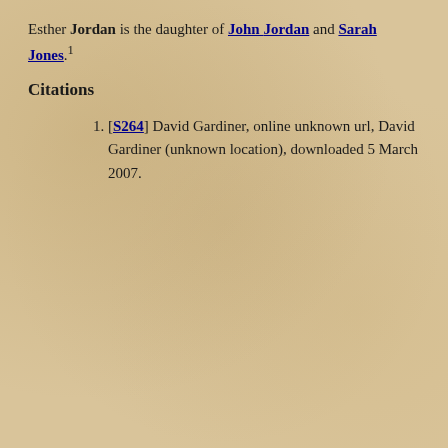Esther Jordan is the daughter of John Jordan and Sarah Jones.1
Citations
[S264] David Gardiner, online unknown url, David Gardiner (unknown location), downloaded 5 March 2007.